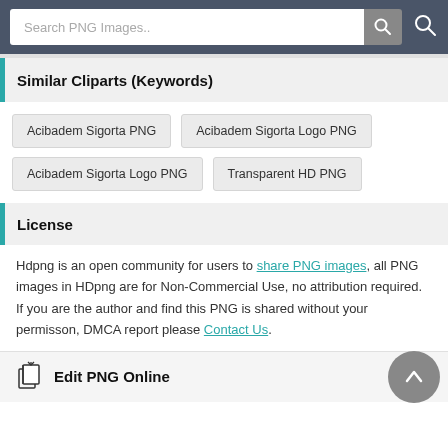Search PNG Images..
Similar Cliparts (Keywords)
Acibadem Sigorta PNG
Acibadem Sigorta Logo PNG
Acibadem Sigorta Logo PNG
Transparent HD PNG
License
Hdpng is an open community for users to share PNG images, all PNG images in HDpng are for Non-Commercial Use, no attribution required. If you are the author and find this PNG is shared without your permisson, DMCA report please Contact Us.
Edit PNG Online